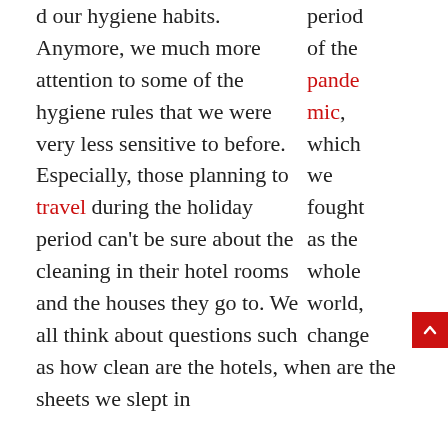period of the pandemic, which we fought as the whole world, changed our hygiene habits. Anymore, we much more attention to some of the hygiene rules that we were very less sensitive to before. Especially, those planning to travel during the holiday period can't be sure about the cleaning in their hotel rooms and the houses they go to. We all think about questions such as how clean are the hotels, when are the sheets we slept in